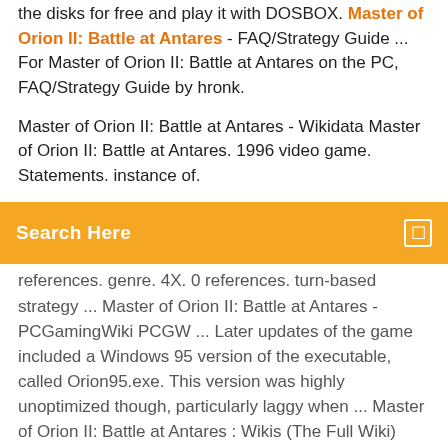the disks for free and play it with DOSBOX. Master of Orion II: Battle at Antares - FAQ/Strategy Guide ... For Master of Orion II: Battle at Antares on the PC, FAQ/Strategy Guide by hronk.
Master of Orion II: Battle at Antares - Wikidata Master of Orion II: Battle at Antares. 1996 video game. Statements. instance of.
[Figure (other): Orange search bar with text 'Search Here' and a small square icon on the right]
references. genre. 4X. 0 references. turn-based strategy ... Master of Orion II: Battle at Antares - PCGamingWiki PCGW ... Later updates of the game included a Windows 95 version of the executable, called Orion95.exe. This version was highly unoptimized though, particularly laggy when ... Master of Orion II: Battle at Antares : Wikis (The Full Wiki) Master of Orion II: Battle at Antares (MOO2) is a 4X turn-based strategy game set in space, designed by Steve Barcia and Ken Burd, and developed by Simtex, who developed its predecessor Master of Orion. I play old games (Master of Orion 2: Battle at Antares ...